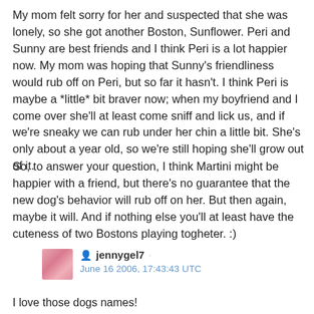My mom felt sorry for her and suspected that she was lonely, so she got another Boston, Sunflower. Peri and Sunny are best friends and I think Peri is a lot happier now. My mom was hoping that Sunny's friendliness would rub off on Peri, but so far it hasn't. I think Peri is maybe a *little* bit braver now; when my boyfriend and I come over she'll at least come sniff and lick us, and if we're sneaky we can rub under her chin a little bit. She's only about a year old, so we're still hoping she'll grow out of it.
So, to answer your question, I think Martini might be happier with a friend, but there's no guarantee that the new dog's behavior will rub off on her. But then again, maybe it will. And if nothing else you'll at least have the cuteness of two Bostons playing togheter. :)
jennygel7
June 16 2006, 17:43:43 UTC
I love those dogs names!